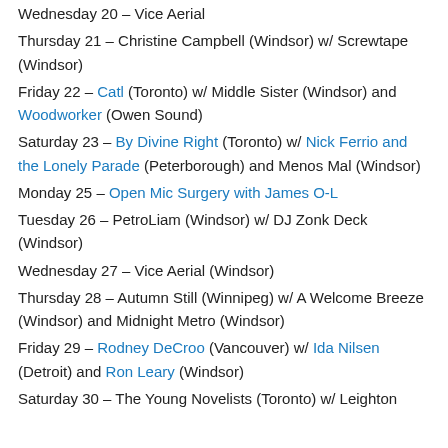Wednesday 20 – Vice Aerial
Thursday 21 – Christine Campbell (Windsor) w/ Screwtape (Windsor)
Friday 22 – Catl (Toronto) w/ Middle Sister (Windsor) and Woodworker (Owen Sound)
Saturday 23 – By Divine Right (Toronto) w/ Nick Ferrio and the Lonely Parade (Peterborough) and Menos Mal (Windsor)
Monday 25 – Open Mic Surgery with James O-L
Tuesday 26 – PetroLiam (Windsor) w/ DJ Zonk Deck (Windsor)
Wednesday 27 – Vice Aerial (Windsor)
Thursday 28 – Autumn Still (Winnipeg) w/ A Welcome Breeze (Windsor) and Midnight Metro (Windsor)
Friday 29 – Rodney DeCroo (Vancouver) w/ Ida Nilsen (Detroit) and Ron Leary (Windsor)
Saturday 30 – The Young Novelists (Toronto) w/ Leighton